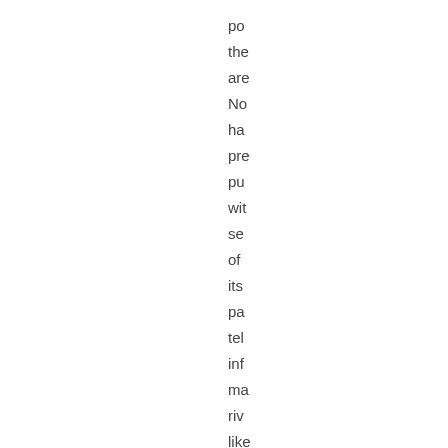po
the
are
No
ha
pre
pu
wit
se
of
its
pa
tel
inf
ma
riv
like